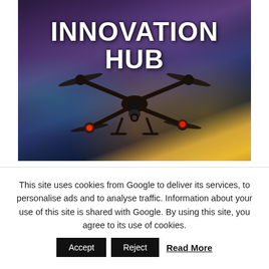[Figure (photo): A drone silhouette against a blurred city skyline background at dusk, with bokeh city lights in purple, teal, and golden tones. Text 'INNOVATION HUB' in large bold white letters overlaid at top.]
This site uses cookies from Google to deliver its services, to personalise ads and to analyse traffic. Information about your use of this site is shared with Google. By using this site, you agree to its use of cookies.